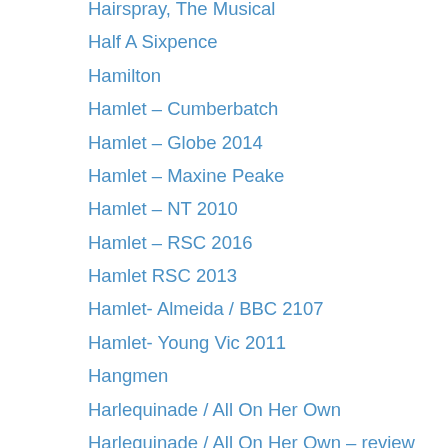Hairspray, The Musical
Half A Sixpence
Hamilton
Hamlet – Cumberbatch
Hamlet – Globe 2014
Hamlet – Maxine Peake
Hamlet – NT 2010
Hamlet – RSC 2016
Hamlet RSC 2013
Hamlet- Almeida / BBC 2107
Hamlet- Young Vic 2011
Hangmen
Harlequinade / All On Her Own
Harlequinade / All On Her Own – review
Hay Fever
Hecuba
Hedda Gabler
Hedda Tesman
Henry IV Parts 1 & 2 RSC
Henry V – 2018